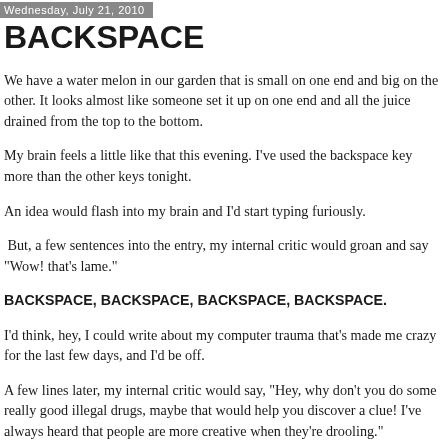Wednesday, July 21, 2010
BACKSPACE
We have a water melon in our garden that is small on one end and big on the other. It looks almost like someone set it up on one end and all the juice drained from the top to the bottom.
My brain feels a little like that this evening. I've used the backspace key more than the other keys tonight.
An idea would flash into my brain and I'd start typing furiously.
 But, a few sentences into the entry, my internal critic would groan and say "Wow! that's lame."
BACKSPACE, BACKSPACE, BACKSPACE, BACKSPACE.
I'd think, hey, I could write about my computer trauma that's made me crazy for the last few days, and I'd be off.
A few lines later, my internal critic would say, "Hey, why don't you do some really good illegal drugs, maybe that would help you discover a clue! I've always heard that people are more creative when they're drooling."
BACKSPACE, BACKSPACE, BACKSPACE, BACKSPACE.
I started writing about the really cool photograph on my wall of Jilda and me, back when I had hair. The critic yawned and said, "If you could grow hair on your head, like you do on your back, you'd